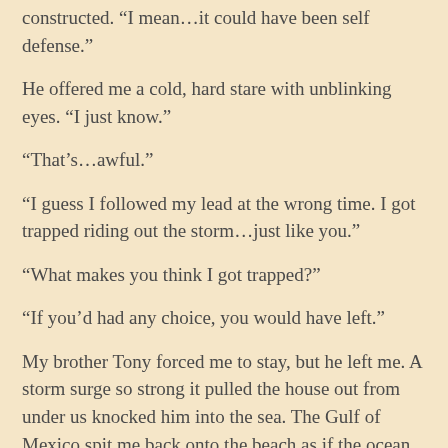constructed. “I mean…it could have been self defense.”
He offered me a cold, hard stare with unblinking eyes. “I just know.”
“That’s…awful.”
“I guess I followed my lead at the wrong time. I got trapped riding out the storm…just like you.”
“What makes you think I got trapped?”
“If you’d had any choice, you would have left.”
My brother Tony forced me to stay, but he left me. A storm surge so strong it pulled the house out from under us knocked him into the sea. The Gulf of Mexico spit me back onto the beach as if the ocean didn’t like the way I tasted.
I survived, but I had no time to grieve. The realization impaled my heart.